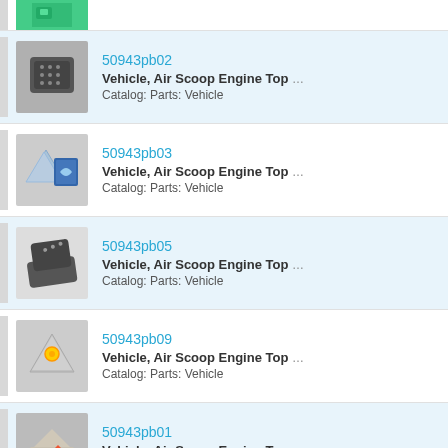50943pb02 | Vehicle, Air Scoop Engine Top | Catalog: Parts: Vehicle
50943pb03 | Vehicle, Air Scoop Engine Top | Catalog: Parts: Vehicle
50943pb05 | Vehicle, Air Scoop Engine Top | Catalog: Parts: Vehicle
50943pb09 | Vehicle, Air Scoop Engine Top | Catalog: Parts: Vehicle
50943pb01 | Vehicle, Air Scoop Engine Top | Catalog: Parts: Vehicle
50943pb11 | Vehicle, Air Scoop Engine Top | Catalog: Parts: Vehicle